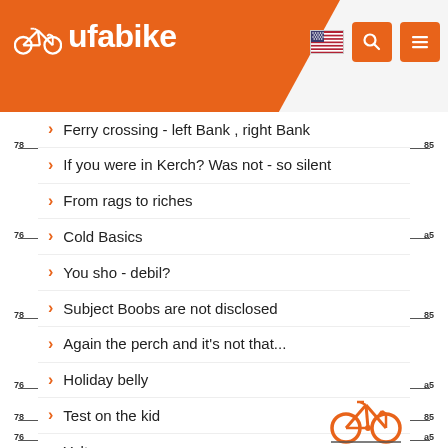ufabike
Ferry crossing - left Bank , right Bank
If you were in Kerch? Was not - so silent
From rags to riches
Cold Basics
You sho - debil?
Subject Boobs are not disclosed
Again the perch and it's not that...
Holiday belly
Test on the kid
Yalta
MegaPack
Long journey home
[Figure (logo): Orange bicycle icon watermark at bottom right]